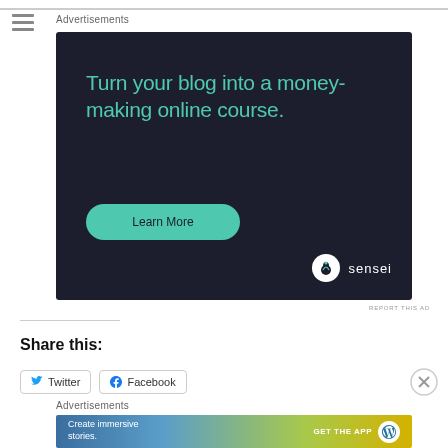Advertisements
[Figure (illustration): Sensei advertisement banner on dark navy background. Text reads: 'Turn your blog into a money-making online course.' with a teal 'Learn More' button and Sensei logo at bottom right.]
REPORT THIS AD
Share this:
Twitter
Facebook
Advertisements
[Figure (illustration): WordPress advertisement banner with gradient blue-green-yellow background. Text reads: 'Create immersive stories.' with 'GET THE APP' button and WordPress logo.]